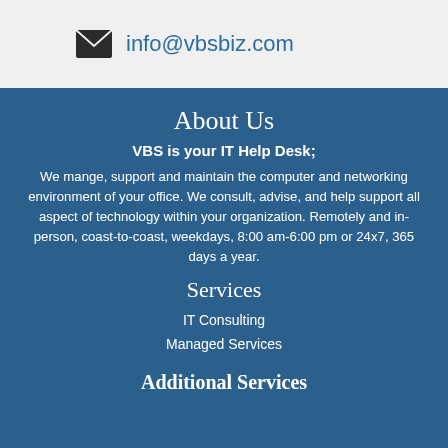info@vbsbiz.com
About Us
VBS is your IT Help Desk;
We mange, support and maintain the computer and networking environment of your office. We consult, advise, and help support all aspect of technology within your organization. Remotely and in-person, coast-to-coast, weekdays, 8:00 am-6:00 pm or 24x7, 365 days a year.
Services
IT Consulting
Managed Services
Additional Services